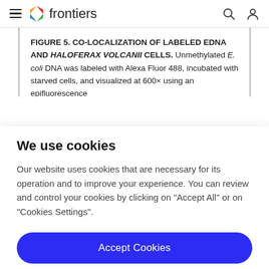frontiers
FIGURE 5. CO-LOCALIZATION OF LABELED EDNA AND HALOFERAX VOLCANII CELLS. Unmethylated E. coli DNA was labeled with Alexa Fluor 488, incubated with starved cells, and visualized at 600× using an epifluorescence
We use cookies
Our website uses cookies that are necessary for its operation and to improve your experience. You can review and control your cookies by clicking on "Accept All" or on "Cookies Settings".
Accept Cookies
Cookies Settings